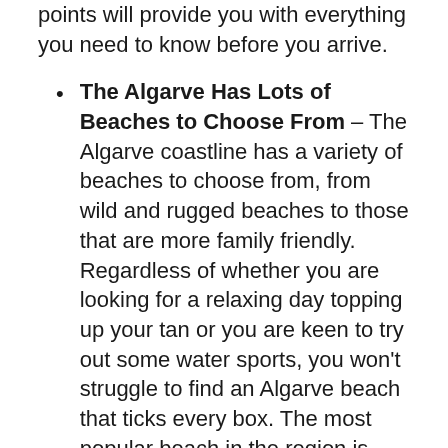points will provide you with everything you need to know before you arrive.
The Algarve Has Lots of Beaches to Choose From – The Algarve coastline has a variety of beaches to choose from, from wild and rugged beaches to those that are more family friendly. Regardless of whether you are looking for a relaxing day topping up your tan or you are keen to try out some water sports, you won't struggle to find an Algarve beach that ticks every box. The most popular beach in the region is Praia da Luz, which is regularly voted as one of the best beaches in Europe. Praia de Dona Ana, Praia do Camilo, Praia da Marinha,